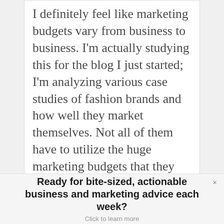I definitely feel like marketing budgets vary from business to business. I'm actually studying this for the blog I just started; I'm analyzing various case studies of fashion brands and how well they market themselves. Not all of them have to utilize the huge marketing budgets that they can definitely afford because that doesn't reflect the personality of their business. I love your blog and will definitely be posting links back to it on my future posts! 🙂
Ready for bite-sized, actionable business and marketing advice each week?
Click to learn more